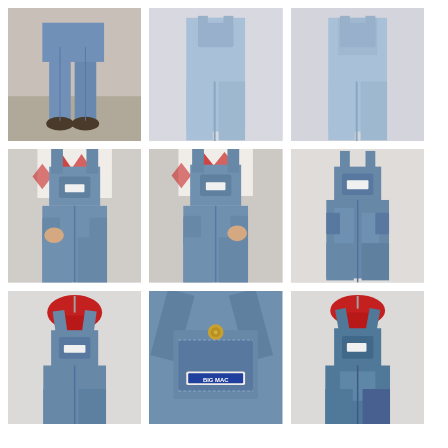[Figure (photo): Top-left: Person wearing denim overalls, lower body/feet visible, casual setting]
[Figure (photo): Top-center: Person wearing light wash denim overalls, wide leg, light blue wash]
[Figure (photo): Top-right: Person wearing light wash denim overalls, wide leg]
[Figure (photo): Middle-left: Person wearing vintage denim bib overalls with red and white argyle/diamond pattern sweater underneath]
[Figure (photo): Middle-center: Person wearing vintage denim bib overalls with red and white argyle/diamond pattern sweater, hand in pocket]
[Figure (photo): Middle-right: Denim bib overalls displayed flat/hanging on hanger, full length view]
[Figure (photo): Bottom-left: Denim bib overalls on mannequin/hanger with red scarf, front view]
[Figure (photo): Bottom-center: Close-up detail of denim overalls bib and hardware, showing brand label]
[Figure (photo): Bottom-right: Denim bib overalls on mannequin/hanger with red scarf, back/side view]